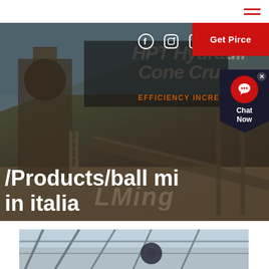Hamburger menu icon (top right)
[Figure (screenshot): Hero banner showing an industrial mining/crushing plant with conveyor belts and heavy machinery. Overlaid with social media icons (Facebook, Instagram, LinkedIn), a red 'Get Pirce' button, background italic text 'HPT Hydraulic Cone Crusher', orange text 'EFFICIENCY INCREA...', and a large white title text '/Products/ball mi... in italia'. A dark chat widget popup is visible on the right.]
/Products/ball mi... in italia
[Figure (photo): Partial view of an industrial indoor facility, showing structural steel framework and what appears to be machinery or equipment, photographed from below looking upward.]